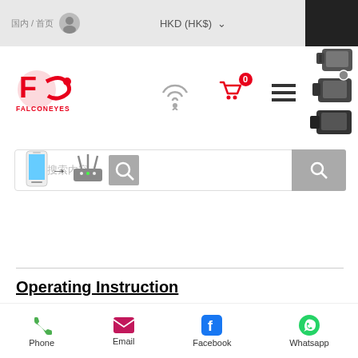HKD (HK$)
[Figure (screenshot): FalconEyes website navigation bar with logo, WiFi icon, cart icon with badge 0, hamburger menu, and studio light product images]
[Figure (screenshot): Search bar with placeholder text and search button]
Operating Instruction
1. Please make sure the WiFi application is installed on mobile phone. You can download from our website or scan the QR code on the first page of the manual to download the apps. 2. Plug in power cable and RC-W01 WiFi receiver. Switch on the light and the indicating light on
Phone  Email  Facebook  Whatsapp